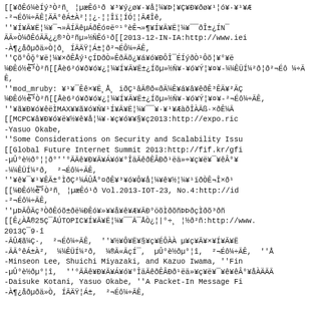[[¥ðÊó¼èÍý³Ò²ñ¸ ¦µæÊó¹ð ¥³¥ý¿ø¥·¥å¦¼¥Þ¦¥Ç¥Ð¥ðø¥¹¦ó¥·¥¹¥Æ-²¬Éô¼÷ÃÊ¦ÄÃ°êÁ±À²¦¦¿·¦¦Îï¦ÍÓ¦¦ÃÆÎê,
''¥Í¥Ã¥Ë¦¼¥¯¬»ÃÍÄêµÁðÊó¤ëº¹°èÊ¬»¶¥Í¥Ã¥Ë¦¼¥¯¯ð̱¿ÍN¯
ÃÃ»Ò¼ðÊóÃÄ¿¿®³Ò²ñµ»½ÑÊó¹ð[[2013-12-IN-IA:http://www.iei
-À¶¿åðµðä»Ò¦ð¸ ÍÃÄŸ¦Á±¦ð²¬ÉÔ¼÷ÃÊ,
''Çõ°Ôõ̥°¥ë¦¼¥×ðÊÅý¹çÍDðÒ»ÊðÃõ¿¥á¥ó¥ÐÔÎ¯ÉÍýðÒ¹ÔõÒ¦¥°¥ë
¼ÐÊó½è͝³Ò²ñ[[Åè6²ó¥ð¥ó¥¿¦¼¥Í¥Ã¥Ë±¿Íõµ»½Ñ¥·¥ó¥Ý¦¥¤¥-¼¼ÊÜÍ¼²ð¦ð²¬Éô ¼÷ÃÊ,
''mod_mruby: ¥¹¥¯Êê×¥Ë¸Å¸ iðÇ¹âÃ®ð«ðÄ¼Ê¥á¥â¥êðÊ³ÊÄ¥²ÃÇ
¼ÐÊó½è͝³Ò²ñ[[Åè6²ó¥ð¥ó¥¿¦¼¥Í¥Ã¥Ë±¿Íõµ»½Ñ¥·¥ó¥Ý¦¥¤¥-²¬Éô¼÷ÃÊ,
''¥ã¥Ð¥ó¥êëÌMAX¥¥ã¥ó¥Ñ¥¹Í¥Ã¥Ë¦¼¥¯¯¥·¥¹¥ÆàðÎÀÃß·×ðÊ¼Ã
[[MCPC¥â¥Ð¥ó¥ë¥½¥ê¥å¦¼¥·¥ç¥ó¥¥§¥ç2013:http://expo.ric
-Yasuo Okabe,
''Some Considerations on Security and Scalability Issu
[[Global Future Internet Summit 2013:http://fif.kr/gfi
-µÛ°è½ð°¦¦ð°''°ÃÃê¥Ð¥Ã¥Á¥ó¥°ÎäÃêðÊÂÐð¹ëä»÷¥ç¥ë¥¯¥êÂ°¥
-¼¼ÊÜÍ¼²ð,  ²¬Éô¼÷ÃÊ,
''¥ê¥¯¥¹¥ÊÃ±°ÌðÇ²¼ÁÛÅ°¤ðÊ¥³¥ó¥Ô¥å¦¼¥ê¥½¦¼¥¹ïðÒÊ¬Î×ð¹
[[¼ÐÊó½è͝³Ò²ñ¸ ¦µæÊó¹ð Vol.2013-IOT-23, No.4:http://id
-²¬Éô¼÷ÃÊ,
''µÞÃÔÃç³ÒðÊóõ±ðë¼ÐÊó¥»¥¥å¥ê¥Æ¥ÃÐ°öõÌðõñÞÞðçÌðõ³ðñ
[[Ê¿ÀÅ®25Ç¯ÅÚTOPIC¥Í¥Ã¥Ë¦¼¥¯¯Ã¯ÅÒ¿¦|°÷¸ ¦½ð²ñ:http://www.
2013Ç¯9·î
-ÃÛÆã¼Ç·,  ²¬Éô¼÷ÃÊ,  ''¥½¥Ô¥Ë¥§¥ç¥ÉÔÀÀ µ¥ç¥Ã¥×¥Í¥Ã¥Ë
-ÃÃ°êÁ±À²,  ¼¼ÊÜÍ¼²ð,  ¼®Ã«ÃçÍ¯,  µÛ°è½ðµ°¦î,  ²¬Éô¼÷ÃÊ,  ''Å
-Minseon Lee, Shuichi Miyazaki, and Kazuo Iwama, ''Fin
-µÛ°è½ðµ°¦î,  ''°ÃÃê¥Ð¥Ã¥Á¥ó¥°ÎäÃêðÊÂÐð¹ëä»¥ç¥ë¥¯¥ê¥êÂ°¥åÀÄÃÃ
-Daisuke Kotani, Yasuo Okabe, ''A Packet-In Message Fi
-À¶¿åðµðä»Ò, ÍÃÄŸ¦Á±,  ²¬Éô¼÷ÃÊ,